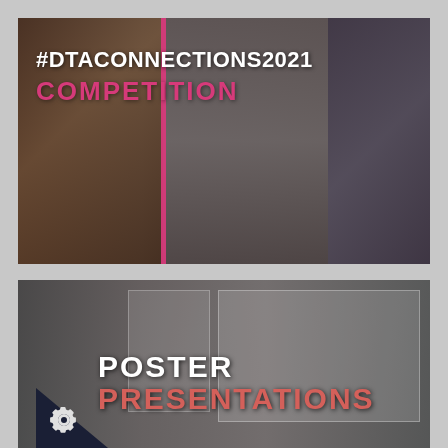[Figure (photo): Composite photo banner showing three panels of people, with a pink vertical dividing bar, overlaid with text '#DTACONNECTIONS2021' in white and 'COMPETITION' in pink/magenta]
[Figure (photo): Photo of a room with whiteboard/poster displays on walls, overlaid with 'POSTER' in white and 'PRESENTATIONS' in salmon/pink-red, with a dark navy triangle and gear/cog icon in the lower left corner]